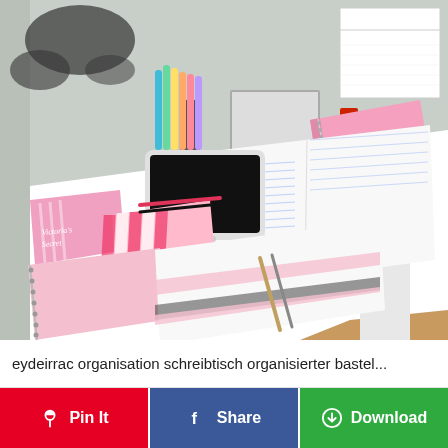[Figure (photo): A well-organized student desk with pink notebooks, planners, spiral-bound notebooks open with handwriting, a tablet, colorful markers and highlighters in a holder, a pencil case with pink stripes (Victoria's Secret), red stationery items, a wall calendar, and a black world map wall decal. The desk is white and set against a light green/mint wall. Instagram watermark reads @estudiante_estresada.]
eydeirrac organisation schreibtisch organisierter bastel...
Pin It
Share
Download